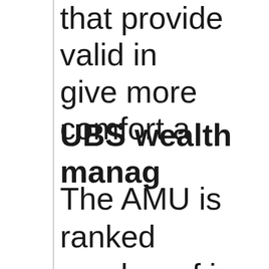that provide valid in give more comfort a
UBS wealth manag
The AMU is ranked number of in the list Management compa company has a Swi